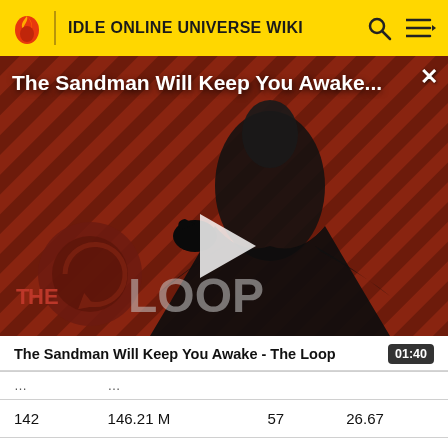IDLE ONLINE UNIVERSE WIKI
[Figure (screenshot): Video thumbnail for 'The Sandman Will Keep You Awake - The Loop' showing a dark figure in black robes against a red diagonal striped background, with 'THE LOOP' branding, a play button overlay, and a close (X) button. The title 'The Sandman Will Keep You Awake...' appears at the top.]
The Sandman Will Keep You Awake - The Loop
01:40
|  | … |  |  |
| 142 | 146.21 M | 57 | 26.67 |
| 143 | 149.299 | 57 | 26.68 |